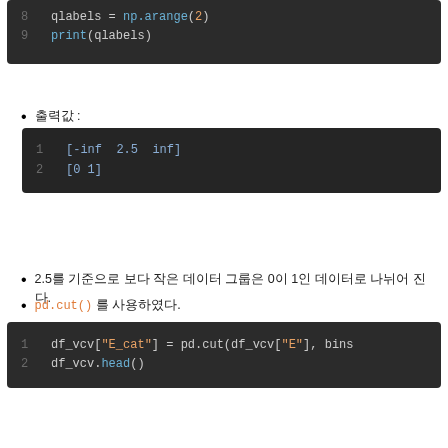[Figure (screenshot): Code block showing lines 8-9: qlabels = np.arange(2) and print(qlabels)]
출력값 :
[Figure (screenshot): Output block showing: 1  [-inf  2.5  inf]  2  [0 1]]
2.5를 기준으로 보다 작은 데이터 그룹은 0이 1인 데이터로 나뉘어 진다.
pd.cut() 를 사용하였다.
[Figure (screenshot): Code block showing: 1  df_vcv["E_cat"] = pd.cut(df_vcv["E"], bins  2  df_vcv.head()]